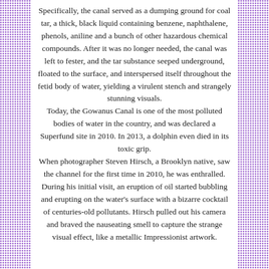Specifically, the canal served as a dumping ground for coal tar, a thick, black liquid containing benzene, naphthalene, phenols, aniline and a bunch of other hazardous chemical compounds. After it was no longer needed, the canal was left to fester, and the tar substance seeped underground, floated to the surface, and interspersed itself throughout the fetid body of water, yielding a virulent stench and strangely stunning visuals.
Today, the Gowanus Canal is one of the most polluted bodies of water in the country, and was declared a Superfund site in 2010. In 2013, a dolphin even died in its toxic grip.
When photographer Steven Hirsch, a Brooklyn native, saw the channel for the first time in 2010, he was enthralled. During his initial visit, an eruption of oil started bubbling and erupting on the water's surface with a bizarre cocktail of centuries-old pollutants. Hirsch pulled out his camera and braved the nauseating smell to capture the strange visual effect, like a metallic Impressionist artwork.